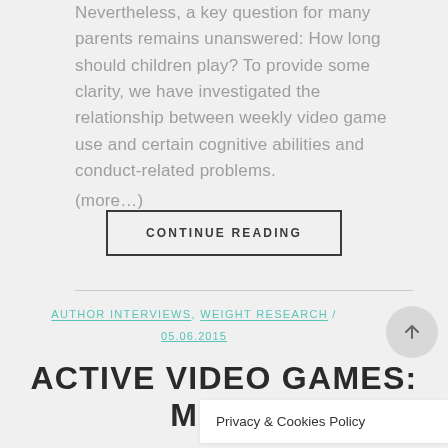Nevertheless, a key question for many parents remains unanswered: How long should children play? To provide some clarity, we have investigated the relationship between weekly video game use and certain cognitive abilities and conduct-related problems. (more…)
CONTINUE READING
AUTHOR INTERVIEWS, WEIGHT RESEARCH / 05.06.2015
ACTIVE VIDEO GAMES: MIXED
Privacy & Cookies Policy